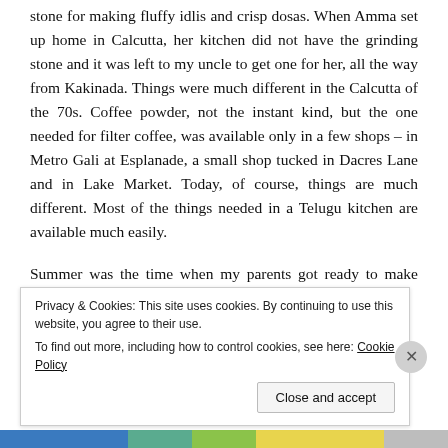stone for making fluffy idlis and crisp dosas. When Amma set up home in Calcutta, her kitchen did not have the grinding stone and it was left to my uncle to get one for her, all the way from Kakinada. Things were much different in the Calcutta of the 70s. Coffee powder, not the instant kind, but the one needed for filter coffee, was available only in a few shops – in Metro Gali at Esplanade, a small shop tucked in Dacres Lane and in Lake Market. Today, of course, things are much different. Most of the things needed in a Telugu kitchen are available much easily.
Summer was the time when my parents got ready to make pickles. Hot, tangy, red mango pickles that would last a year.
Privacy & Cookies: This site uses cookies. By continuing to use this website, you agree to their use. To find out more, including how to control cookies, see here: Cookie Policy